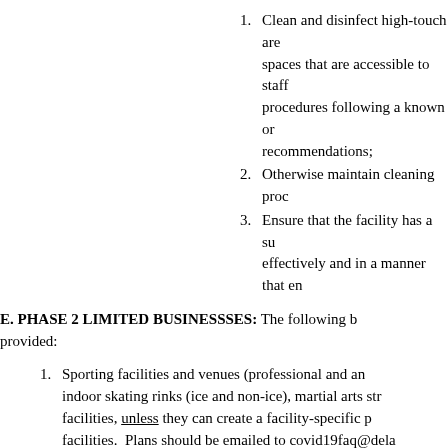1. Clean and disinfect high-touch areas, spaces that are accessible to staff procedures following a known or recommendations;
2. Otherwise maintain cleaning proc
3. Ensure that the facility has a su effectively and in a manner that en
E. PHASE 2 LIMITED BUSINESSSES: The following b provided:
1. Sporting facilities and venues (professional and an indoor skating rinks (ice and non-ice), martial arts str facilities, unless they can create a facility-specific p facilities. Plans should be emailed to covid19faq@dela
2. Indoor children's play areas, including softscape or h